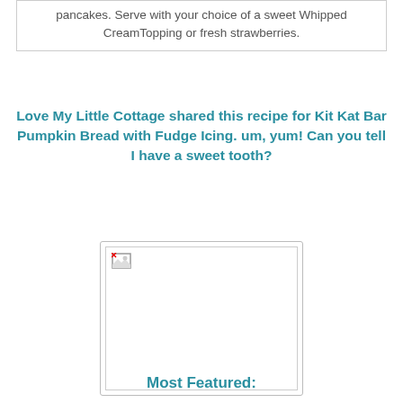pancakes. Serve with your choice of a sweet Whipped CreamTopping or fresh strawberries.
Love My Little Cottage shared this recipe for Kit Kat Bar Pumpkin Bread with Fudge Icing. um, yum! Can you tell I have a sweet tooth?
[Figure (photo): Broken/missing image placeholder showing a small broken image icon in the top-left corner of a white rectangle with a border]
Most Featured: